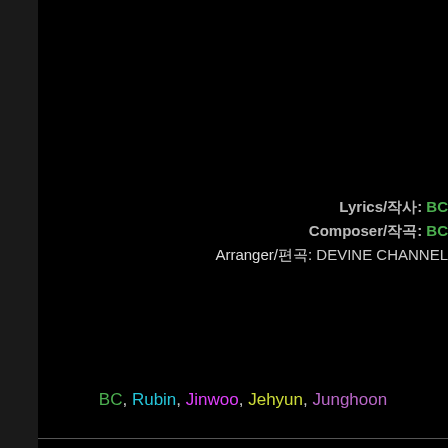Lyrics/작사: BC
Composer/작곡: BC
Arranger/편곡: DEVINE CHANNEL
BC, Rubin, Jinwoo, Jehyun, Junghoon
Romanization
WHERE ARE U AT
WHERE ARE U AT
nae haru soge seo
nal gwerophineun neon
oneul bam eodie
gireul geotta bomyeon